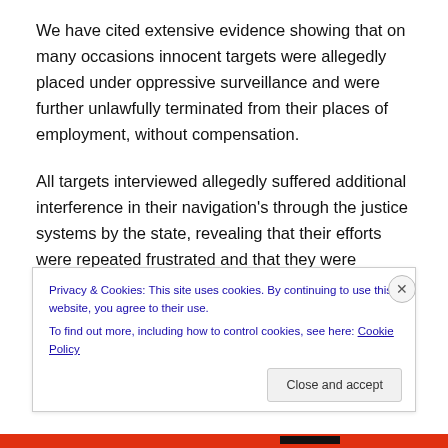We have cited extensive evidence showing that on many occasions innocent targets were allegedly placed under oppressive surveillance and were further unlawfully terminated from their places of employment, without compensation.
All targets interviewed allegedly suffered additional interference in their navigation's through the justice systems by the state, revealing that their efforts were repeated frustrated and that they were further denied
Privacy & Cookies: This site uses cookies. By continuing to use this website, you agree to their use.
To find out more, including how to control cookies, see here: Cookie Policy